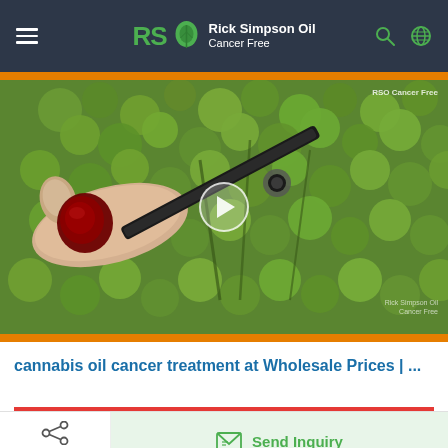Rick Simpson Oil Cancer Free
[Figure (photo): Video thumbnail showing a finger with dark reddish-brown cannabis oil (RSO) being dispensed from a syringe, with green leaves in the background. Play button overlay in center. Watermark 'RSO Cancer Free' in top right corner.]
cannabis oil cancer treatment at Wholesale Prices | ...
Share | Send Inquiry